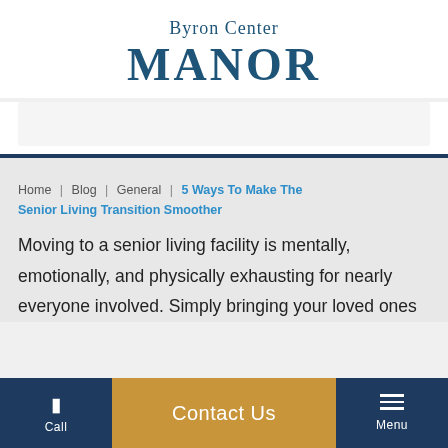Byron Center MANOR
Home | Blog | General | 5 Ways To Make The Senior Living Transition Smoother
Moving to a senior living facility is mentally, emotionally, and physically exhausting for nearly everyone involved. Simply bringing your loved ones